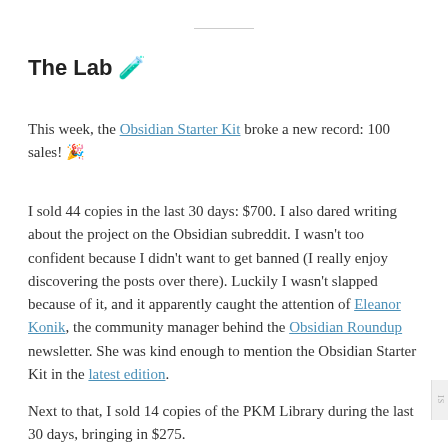The Lab 🧪
This week, the Obsidian Starter Kit broke a new record: 100 sales! 🎉
I sold 44 copies in the last 30 days: $700. I also dared writing about the project on the Obsidian subreddit. I wasn't too confident because I didn't want to get banned (I really enjoy discovering the posts over there). Luckily I wasn't slapped because of it, and it apparently caught the attention of Eleanor Konik, the community manager behind the Obsidian Roundup newsletter. She was kind enough to mention the Obsidian Starter Kit in the latest edition.
Next to that, I sold 14 copies of the PKM Library during the last 30 days, bringing in $275.